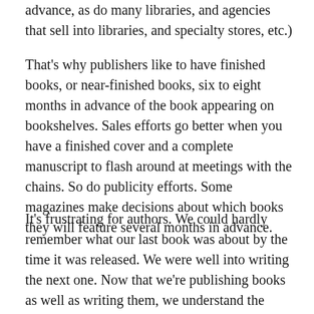advance, as do many libraries, and agencies that sell into libraries, and specialty stores, etc.)
That's why publishers like to have finished books, or near-finished books, six to eight months in advance of the book appearing on bookshelves. Sales efforts go better when you have a finished cover and a complete manuscript to flash around at meetings with the chains. So do publicity efforts. Some magazines make decisions about which books they will feature several months in advance.
It's frustrating for authors. We could hardly remember what our last book was about by the time it was released. We were well into writing the next one. Now that we're publishing books as well as writing them, we understand the processes better but we still find it frustrating, and we don't see any way around it.